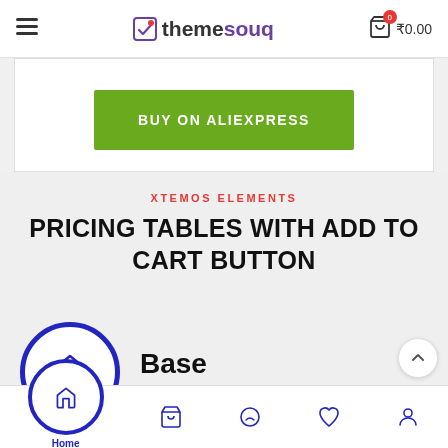themesouq — ₹0.00
[Figure (screenshot): Green BUY ON ALIEXPRESS button inside a white card]
XTEMOS ELEMENTS
PRICING TABLES WITH ADD TO CART BUTTON
[Figure (illustration): Home icon inside a large dark blue circle — pricing table Base tier icon]
Base
Home navigation bar with Home, Shop, Chat, Wishlist, Account icons